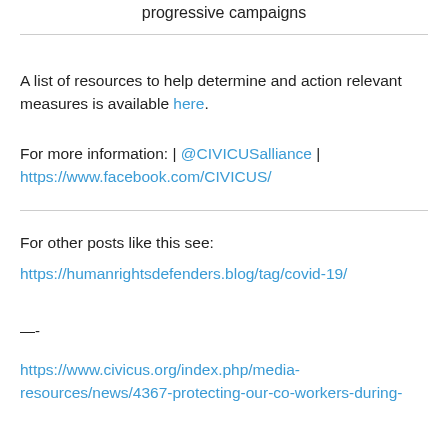progressive campaigns
A list of resources to help determine and action relevant measures is available here.
For more information: | @CIVICUSalliance | https://www.facebook.com/CIVICUS/
For other posts like this see:
https://humanrightsdefenders.blog/tag/covid-19/
—-
https://www.civicus.org/index.php/media-resources/news/4367-protecting-our-co-workers-during-